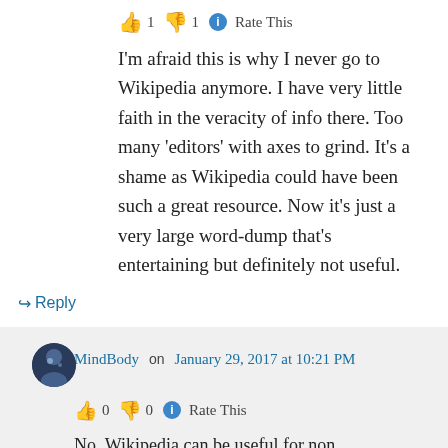👍 1 👎 1 ℹ Rate This
I'm afraid this is why I never go to Wikipedia anymore. I have very little faith in the veracity of info there. Too many 'editors' with axes to grind. It's a shame as Wikipedia could have been such a great resource. Now it's just a very large word-dump that's entertaining but definitely not useful.
↪ Reply
MindBody on January 29, 2017 at 10:21 PM
👍 0 👎 0 ℹ Rate This
No, Wikipedia can be useful for non controversial topics. IE I looked up a locally